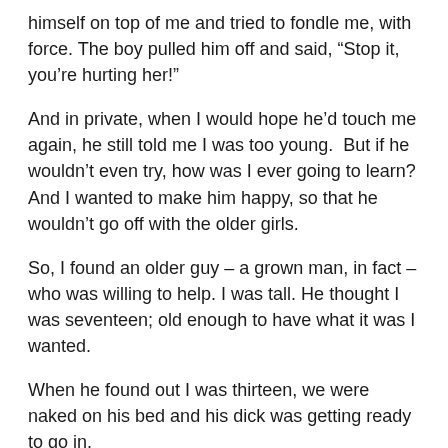himself on top of me and tried to fondle me, with force. The boy pulled him off and said, “Stop it, you’re hurting her!”
And in private, when I would hope he’d touch me again, he still told me I was too young.  But if he wouldn’t even try, how was I ever going to learn? And I wanted to make him happy, so that he wouldn’t go off with the older girls.
So, I found an older guy – a grown man, in fact – who was willing to help. I was tall. He thought I was seventeen; old enough to have what it was I wanted.
When he found out I was thirteen, we were naked on his bed and his dick was getting ready to go in.
What the hell? He was stunned when he found out how old I was. He told me to go home.
I hadn’t meant to deceive him. It just hadn’t come up – my age.